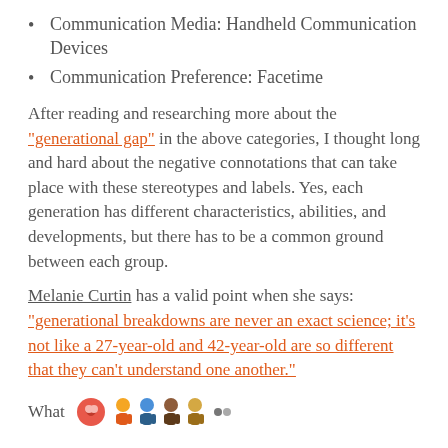Communication Media: Handheld Communication Devices
Communication Preference: Facetime
After reading and researching more about the “generational gap” in the above categories, I thought long and hard about the negative connotations that can take place with these stereotypes and labels. Yes, each generation has different characteristics, abilities, and developments, but there has to be a common ground between each group.
Melanie Curtin has a valid point when she says: “generational breakdowns are never an exact science; it’s not like a 27-year-old and 42-year-old are so different that they can’t understand one another.”
What
[Figure (illustration): Colorful illustration of diverse people/cartoon figures representing different generations]